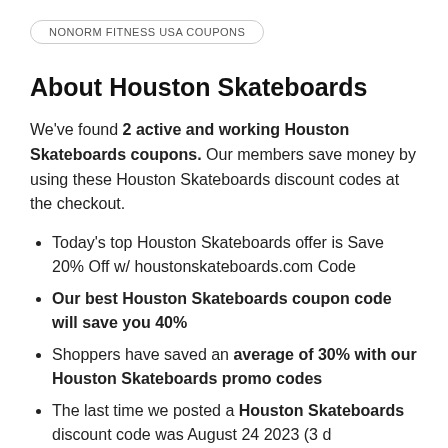NONORM FITNESS USA COUPONS
About Houston Skateboards
We've found 2 active and working Houston Skateboards coupons. Our members save money by using these Houston Skateboards discount codes at the checkout.
Today's top Houston Skateboards offer is Save 20% Off w/ houstonskateboards.com Code
Our best Houston Skateboards coupon code will save you 40%
Shoppers have saved an average of 30% with our Houston Skateboards promo codes
The last time we posted a Houston Skateboards discount code was August 24 2023 (3 d...